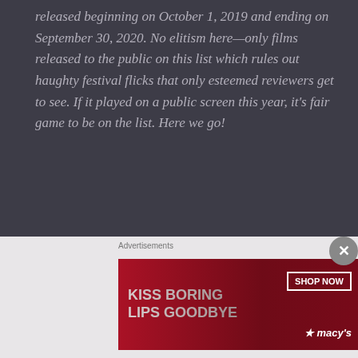released beginning on October 1, 2019 and ending on September 30, 2020. No elitism here—only films released to the public on this list which rules out haughty festival flicks that only esteemed reviewers get to see. If it played on a public screen this year, it's fair game to be on the list. Here we go!
Released on February 7, 2020. Available on digital download and On Demand from NEON!!
THE LODGE (2019)
Directed by Severin Fiala, Veronika Franz
[Figure (other): Advertisement banner: 'KISS BORING LIPS GOODBYE' with SHOP NOW button and Macy's star logo, featuring a woman's face/lips. Ad label reads 'Advertisements'. Close button (X) visible at right.]